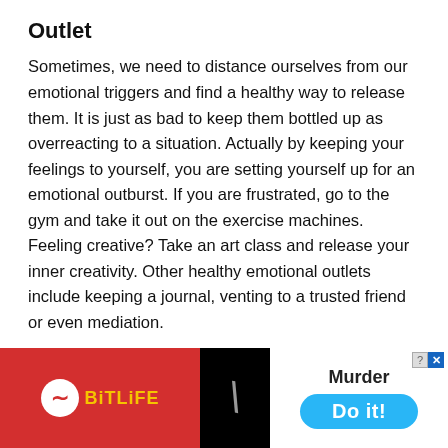Outlet
Sometimes, we need to distance ourselves from our emotional triggers and find a healthy way to release them. It is just as bad to keep them bottled up as overreacting to a situation. Actually by keeping your feelings to yourself, you are setting yourself up for an emotional outburst. If you are frustrated, go to the gym and take it out on the exercise machines. Feeling creative? Take an art class and release your inner creativity. Other healthy emotional outlets include keeping a journal, venting to a trusted friend or even mediation.
4 Look at the Whole Picture
Thinking about how and "why are women so emotional" brings ... only conce... he
[Figure (screenshot): BitLife advertisement banner overlay at the bottom of the page showing the BitLife logo on a red background on the left, a dark center section with a diagonal slash, and on the right a white section with 'Murder' text, a close button with question mark and X, and a 'Do it!' button in blue.]